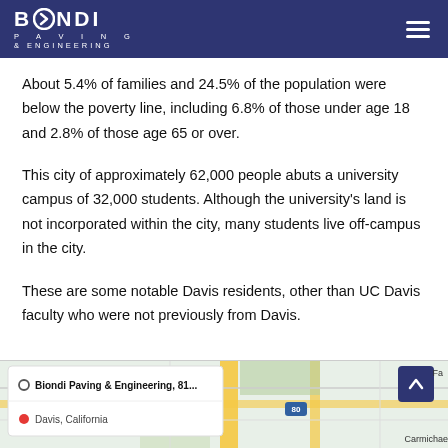BIONDI PAVING & ENGINEERING
About 5.4% of families and 24.5% of the population were below the poverty line, including 6.8% of those under age 18 and 2.8% of those age 65 or over.
This city of approximately 62,000 people abuts a university campus of 32,000 students. Although the university's land is not incorporated within the city, many students live off-campus in the city.
These are some notable Davis residents, other than UC Davis faculty who were not previously from Davis.
[Figure (map): Google Maps embed showing location of Biondi Paving & Engineering, Davis, California with map tiles visible and a scroll-up button]